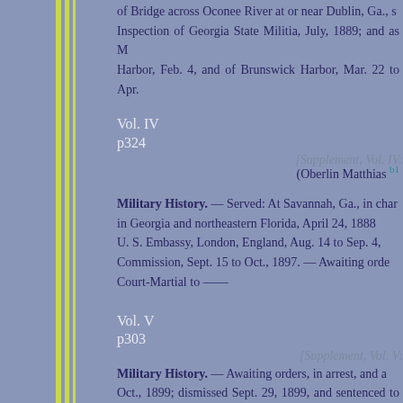of Bridge across Oconee River at or near Dublin, Ga., s Inspection of Georgia State Militia, July, 1889; and as M Harbor, Feb. 4, and of Brunswick Harbor, Mar. 22 to Apr.
Vol. IV
p324
[Supplement, Vol. IV:
(Oberlin Matthias b
Military History. — Served: At Savannah, Ga., in char in Georgia and northeastern Florida, April 24, 1888 U. S. Embassy, London, England, Aug. 14 to Sep. 4, Commission, Sept. 15 to Oct., 1897. — Awaiting orde Court-Martial to ——
Vol. V
p303
[Supplement, Vol. V:
Military History. — Awaiting orders, in arrest, and a Oct., 1899; dismissed Sept. 29, 1899, and sentenced to pa a penitentiary, and proceedings to be published in newsp Leavenworth prison; history; afterwards unknown.